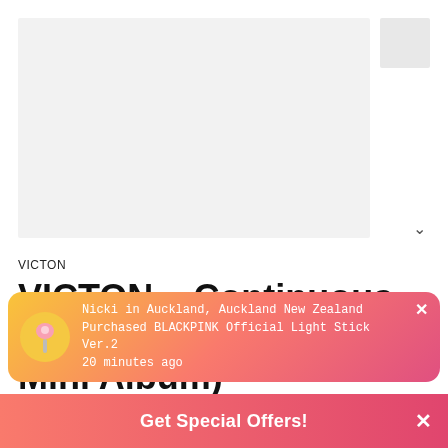[Figure (photo): Light grey placeholder image box for album art, with a smaller grey box to the right and a chevron/down arrow below]
VICTON
VICTON – Continuous (6th Mini Album)
[Figure (screenshot): Notification popup with gradient orange-to-pink background, light stick icon in yellow circle, text reading 'Nicki in Auckland, Auckland New Zealand Purchased BLACKPINK Official Light Stick Ver.2 20 minutes ago', with an X close button]
Get Special Offers!